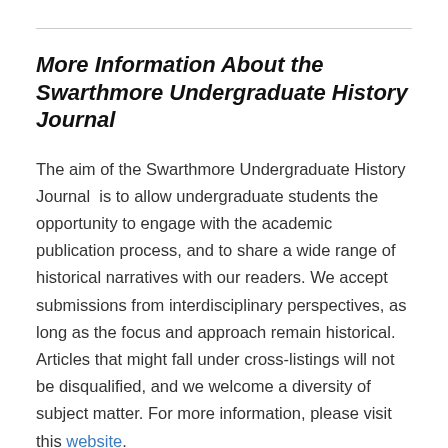More Information About the Swarthmore Undergraduate History Journal
The aim of the Swarthmore Undergraduate History Journal  is to allow undergraduate students the opportunity to engage with the academic publication process, and to share a wide range of historical narratives with our readers. We accept submissions from interdisciplinary perspectives, as long as the focus and approach remain historical. Articles that might fall under cross-listings will not be disqualified, and we welcome a diversity of subject matter. For more information, please visit this website.